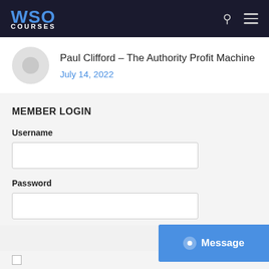WSO COURSES
Paul Clifford – The Authority Profit Machine
July 14, 2022
MEMBER LOGIN
Username
Password
Message